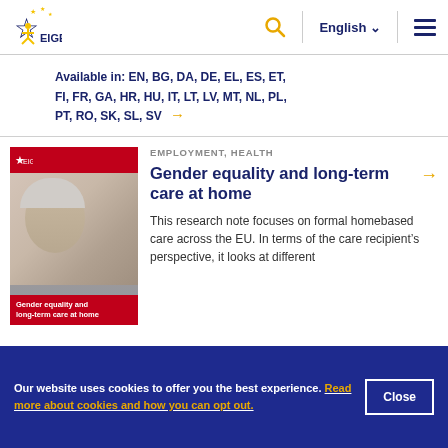EIGE — European Institute for Gender Equality
Available in: EN, BG, DA, DE, EL, ES, ET, FI, FR, GA, HR, HU, IT, LT, LV, MT, NL, PL, PT, RO, SK, SL, SV →
[Figure (photo): Cover of publication 'Gender equality and long-term care at home' showing an elderly woman with a carer]
Gender equality and long-term care at home
EMPLOYMENT, HEALTH
Gender equality and long-term care at home
This research note focuses on formal homebased care across the EU. In terms of the care recipient's perspective, it looks at different
Our website uses cookies to offer you the best experience. Read more about cookies and how you can opt out.